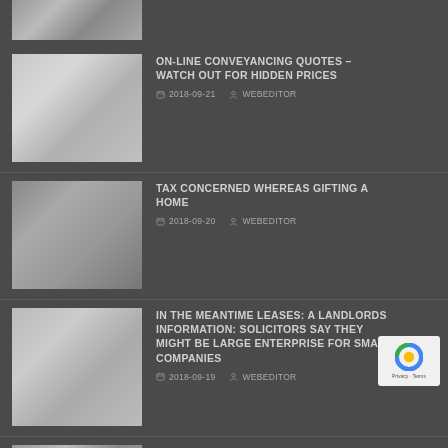[Figure (photo): Partial top image stub — cropped book/document image]
ON-LINE CONVEYANCING QUOTES – WATCH OUT FOR HIDDEN PRICES
2018-09-21  WEBEDITOR
[Figure (photo): People shaking hands over documents at a desk]
TAX CONCERNED WHEREAS GIFTING A HOME
2018-09-20  WEBEDITOR
[Figure (photo): Gavel above a miniature house model]
IN THE MEANTIME LEASES: A LANDLORDS INFORMATION: SOLICITORS SAY THEY MIGHT BE LARGE ENTERPRISE FOR SMALL COMPANIES
2018-09-19  WEBEDITOR
[Figure (photo): Partial bottom image — documents on a desk]
CHAPTER AFTER A QUICK SALE